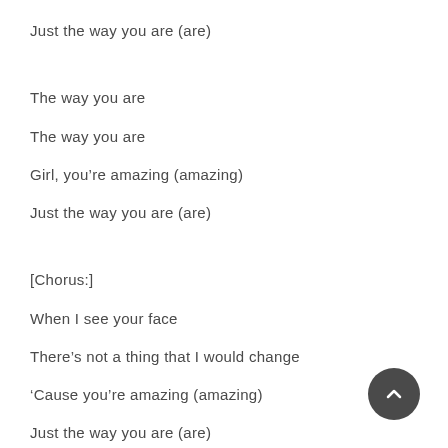Just the way you are (are)
The way you are
The way you are
Girl, you're amazing (amazing)
Just the way you are (are)
[Chorus:]
When I see your face
There's not a thing that I would change
'Cause you're amazing (amazing)
Just the way you are (are)
And when you smile
The whole world stops and stares for a while
'Cause, girl, you're amazing
Just the way you are
Yeah